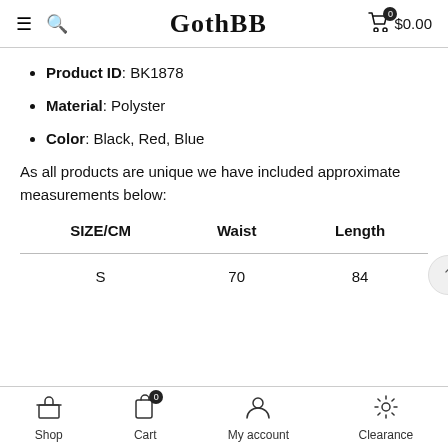GothBB — $0.00
Product ID: BK1878
Material: Polyster
Color: Black, Red, Blue
As all products are unique we have included approximate measurements below:
| SIZE/CM | Waist | Length |
| --- | --- | --- |
| S | 70 | 84 |
Shop | Cart | My account | Clearance